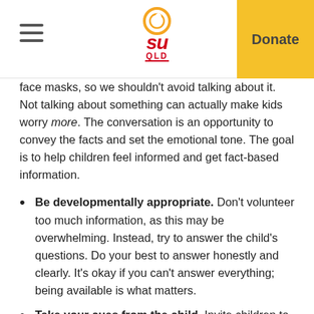SU QLD | Donate
face masks, so we shouldn't avoid talking about it. Not talking about something can actually make kids worry more. The conversation is an opportunity to convey the facts and set the emotional tone. The goal is to help children feel informed and get fact-based information.
Be developmentally appropriate. Don't volunteer too much information, as this may be overwhelming. Instead, try to answer the child's questions. Do your best to answer honestly and clearly. It's okay if you can't answer everything; being available is what matters.
Take your cues from the child. Invite children to tell you...